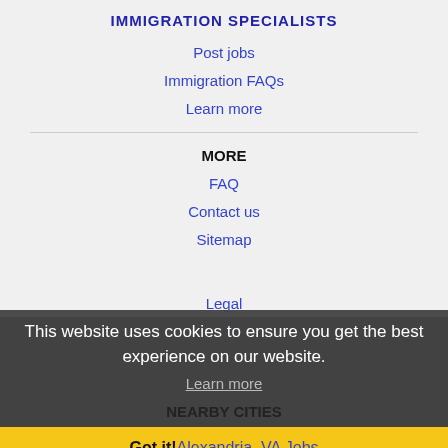IMMIGRATION SPECIALISTS
Post jobs
Immigration FAQs
Learn more
MORE
FAQ
Contact us
Sitemap
Legal
Privacy
This website uses cookies to ensure you get the best experience on our website.
Learn more
NEARBY CITIES
Got it!  Alexandria, VA Jobs
Annandale, VA Jobs
Arlington, VA Jobs